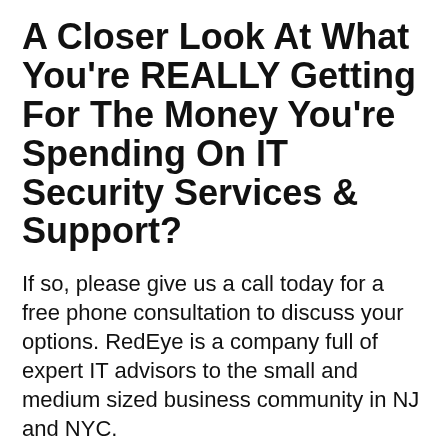A Closer Look At What You're REALLY Getting For The Money You're Spending On IT Security Services & Support?
If so, please give us a call today for a free phone consultation to discuss your options. RedEye is a company full of expert IT advisors to the small and medium sized business community in NJ and NYC.
BOOK A CONSULT